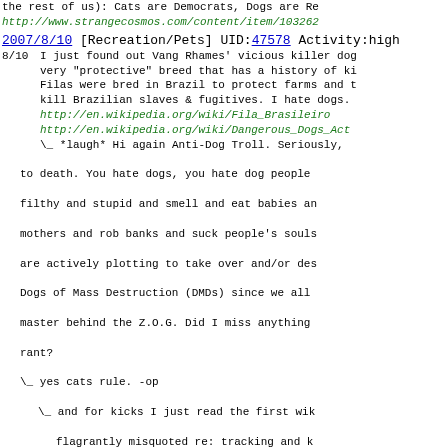the rest of us): Cats are Democrats, Dogs are Re...
http://www.strangecosmos.com/content/item/103262...
2007/8/10 [Recreation/Pets] UID:47578 Activity:high
8/10  I just found out Vang Rhames' vicious killer dog... very "protective" breed that has a history of ki... Filas were bred in Brazil to protect farms and t... kill Brazilian slaves & fugitives. I hate dogs.
http://en.wikipedia.org/wiki/Fila_Brasileiro
http://en.wikipedia.org/wiki/Dangerous_Dogs_Act
\_ *laugh* Hi again Anti-Dog Troll. Seriously, ...to death. You hate dogs, you hate dog people...filthy and stupid and smell and eat babies an...mothers and rob banks and suck people's souls...are actively plotting to take over and/or des...Dogs of Mass Destruction (DMDs) since we all...master behind the Z.O.G. Did I miss anything...rant?
\_ yes cats rule.    -op
\_ and for kicks I just read the first wik...flagrantly misquoted re: tracking and k...you're going to troll at least don't mi...it dramatically diminishes the value of
2007/8/9-10 [Recreation/Pets] UID:47568 Activity:high
8/8  Did you know Islams hate dogs? Muhammad is said...order to kill all the dogs in Medina because the...does not enter a house in which there is a dog....in a negative light by emphasizing its impurity...dogs as demons or minions of the Devil. Did you...do not have them as pets? According to Sahih Mus...